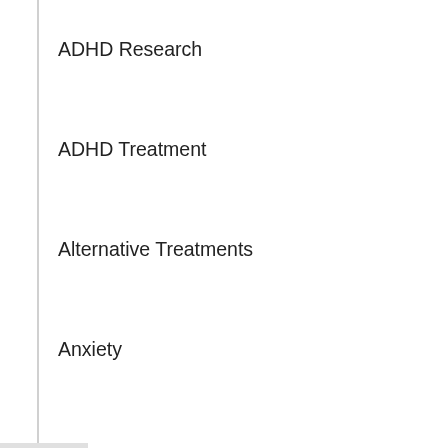ADHD Research
ADHD Treatment
Alternative Treatments
Anxiety
Book & Product Reviews
Coaches' Corner
Coaching
Corrections
Dual Diagnoses & Other Conditions
Executive Functioning